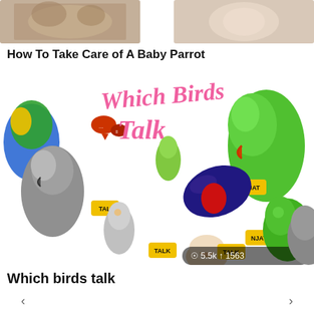[Figure (photo): Two partial thumbnail images at the top — left shows a cat/small animal, right shows a close-up of a hand or similar]
How To Take Care of A Baby Parrot
[Figure (infographic): Colorful infographic showing multiple parrots and birds with the title 'Which Birds Talk' in pink cursive lettering, with speech bubble icons labeled TALK and chat, and stats showing 5.5k views and 1563 shares]
Which birds talk